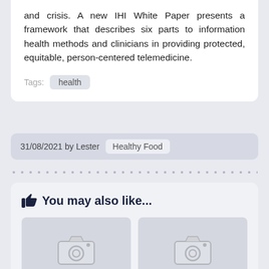and crisis. A new IHI White Paper presents a framework that describes six parts to information health methods and clinicians in providing protected, equitable, person-centered telemedicine.
Tags: health
31/08/2021 by Lester  Healthy Food
You may also like...
[Figure (photo): Image placeholder with camera icon (left)]
[Figure (photo): Image placeholder with camera icon (right)]